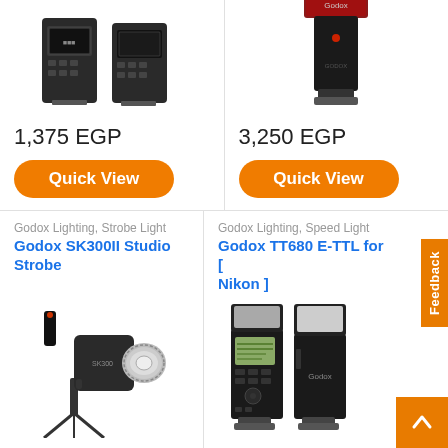[Figure (photo): Godox camera flash/trigger devices - two black units shown from back]
1,375 EGP
Quick View
[Figure (photo): Godox flash unit - black vertical speedlight with Godox branding]
3,250 EGP
Quick View
Godox Lighting, Strobe Light
Godox SK300II Studio Strobe
Godox Lighting, Speed Light
Godox TT680 E-TTL for [ Nikon ]
[Figure (photo): Godox SK300II Studio Strobe - large black studio flash monolight on stand]
[Figure (photo): Godox TT680 speedlight flashes for Nikon - two units shown front and back]
Feedback